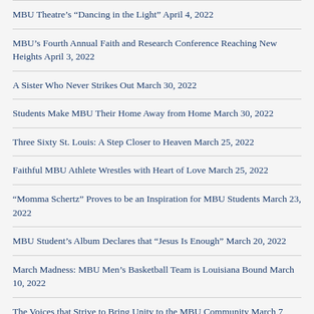MBU Theatre’s “Dancing in the Light” April 4, 2022
MBU’s Fourth Annual Faith and Research Conference Reaching New Heights April 3, 2022
A Sister Who Never Strikes Out March 30, 2022
Students Make MBU Their Home Away from Home March 30, 2022
Three Sixty St. Louis: A Step Closer to Heaven March 25, 2022
Faithful MBU Athlete Wrestles with Heart of Love March 25, 2022
“Momma Schertz” Proves to be an Inspiration for MBU Students March 23, 2022
MBU Student’s Album Declares that “Jesus Is Enough” March 20, 2022
March Madness: MBU Men’s Basketball Team is Louisiana Bound March 10, 2022
The Voices that Strive to Bring Unity to the MBU Community March 7, 2022